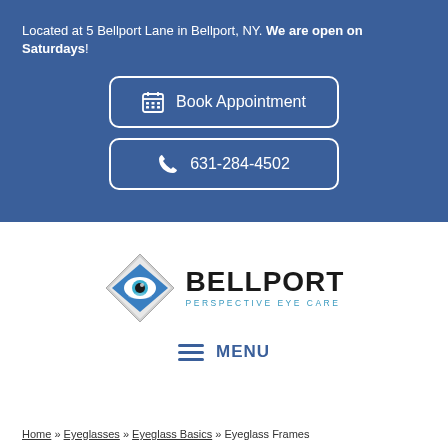Located at 5 Bellport Lane in Bellport, NY. We are open on Saturdays!
Book Appointment
631-284-4502
[Figure (logo): Bellport Perspective Eye Care logo with diamond eye symbol]
MENU
Home » Eyeglasses » Eyeglass Basics » Eyeglass Frames